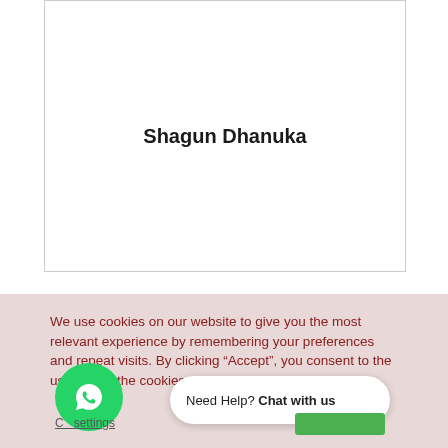Shagun Dhanuka
We use cookies on our website to give you the most relevant experience by remembering your preferences and repeat visits. By clicking “Accept”, you consent to the use of ALL the cookies.
Need Help? Chat with us